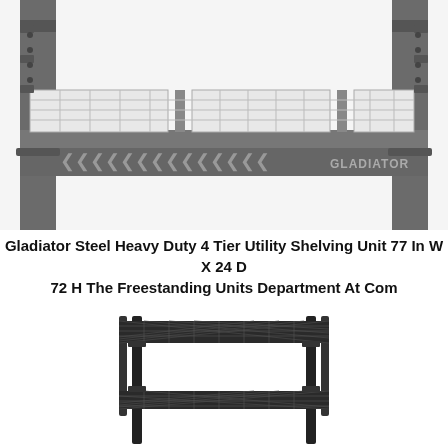[Figure (photo): Close-up photo of a Gladiator steel heavy duty shelving unit showing the bottom shelf with wire rack surface and metal frame with the Gladiator logo on a gray/silver bar. The shelf posts and structural elements are dark metallic.]
Gladiator Steel Heavy Duty 4 Tier Utility Shelving Unit 77 In W X 24 D 72 H The Freestanding Units Department At Com
[Figure (photo): Photo of a black wire shelving unit with two tiers, showing a compact freestanding wire shelf unit with dark tubular metal posts and wire mesh shelves.]